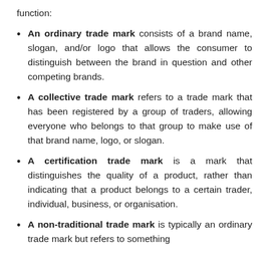function:
An ordinary trade mark consists of a brand name, slogan, and/or logo that allows the consumer to distinguish between the brand in question and other competing brands.
A collective trade mark refers to a trade mark that has been registered by a group of traders, allowing everyone who belongs to that group to make use of that brand name, logo, or slogan.
A certification trade mark is a mark that distinguishes the quality of a product, rather than indicating that a product belongs to a certain trader, individual, business, or organisation.
A non-traditional trade mark is typically an ordinary trade mark but refers to something